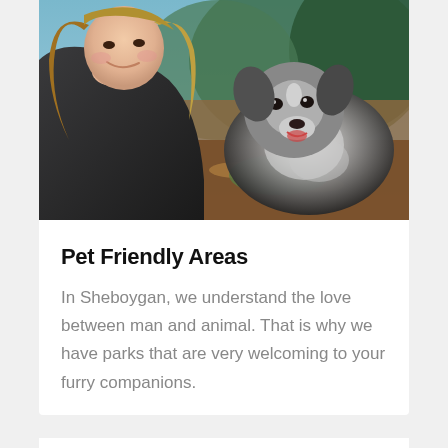[Figure (photo): A woman taking a selfie outdoors with a fluffy grey and white dog beside her, surrounded by trees and natural forest scenery.]
Pet Friendly Areas
In Sheboygan, we understand the love between man and animal. That is why we have parks that are very welcoming to your furry companions.